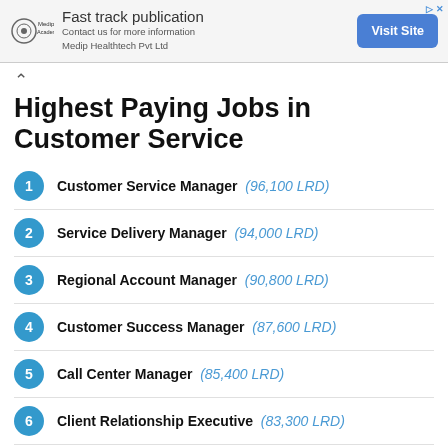[Figure (other): Advertisement banner for Medip Academy / Medip Healthtech Pvt Ltd — Fast track publication, with Visit Site button]
Highest Paying Jobs in Customer Service
1 Customer Service Manager (96,100 LRD)
2 Service Delivery Manager (94,000 LRD)
3 Regional Account Manager (90,800 LRD)
4 Customer Success Manager (87,600 LRD)
5 Call Center Manager (85,400 LRD)
6 Client Relationship Executive (83,300 LRD)